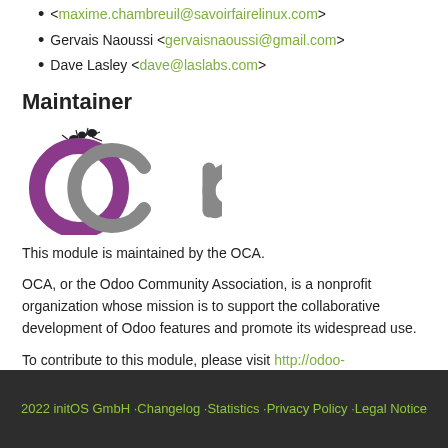<maxime.chambreuil@savoirfairelinux.com>
Gervais Naoussi <gervaisnaoussi@gmail.com>
Dave Lasley <dave@laslabs.com>
Maintainer
[Figure (logo): OCA (Odoo Community Association) logo with ant on top of the letter O]
This module is maintained by the OCA.
OCA, or the Odoo Community Association, is a nonprofit organization whose mission is to support the collaborative development of Odoo features and promote its widespread use.
To contribute to this module, please visit http://odoo-community.org.
2022 initOS GmbH · Changelog · Statistics · Privacy Policy · Legal Notice